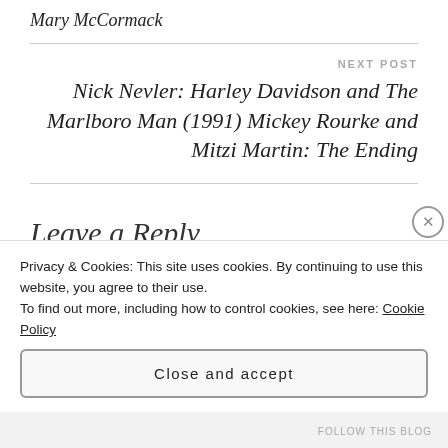Mary McCormack
NEXT POST
Nick Nevler: Harley Davidson and The Marlboro Man (1991) Mickey Rourke and Mitzi Martin: The Ending
Leave a Reply
Your email address will not be published. Required
Privacy & Cookies: This site uses cookies. By continuing to use this website, you agree to their use. To find out more, including how to control cookies, see here: Cookie Policy
Close and accept